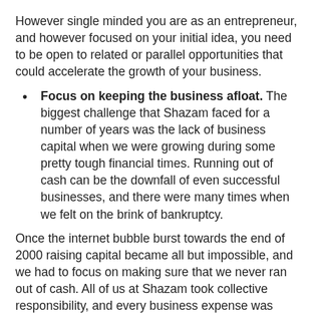However single minded you are as an entrepreneur, and however focused on your initial idea, you need to be open to related or parallel opportunities that could accelerate the growth of your business.
Focus on keeping the business afloat. The biggest challenge that Shazam faced for a number of years was the lack of business capital when we were growing during some pretty tough financial times. Running out of cash can be the downfall of even successful businesses, and there were many times when we felt on the brink of bankruptcy.
Once the internet bubble burst towards the end of 2000 raising capital became all but impossible, and we had to focus on making sure that we never ran out of cash. All of us at Shazam took collective responsibility, and every business expense was justified by whether it helped us to live to fight another day.